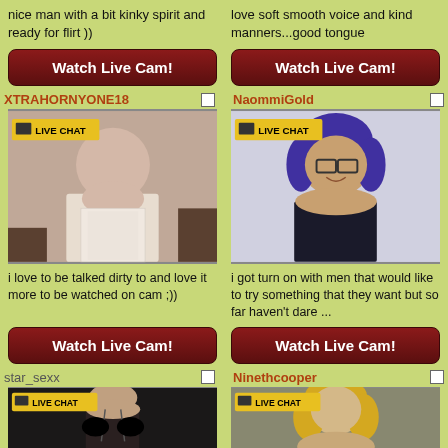nice man with a bit kinky spirit and ready for flirt ))
love soft smooth voice and kind manners...good tongue
Watch Live Cam!
Watch Live Cam!
XTRAHORNYONE18
NaommiGold
[Figure (photo): Woman in white lace dress with LIVE CHAT badge]
[Figure (photo): Woman with dark hair and glasses wearing black bra with LIVE CHAT badge]
i love to be talked dirty to and love it more to be watched on cam ;))
i got turn on with men that would like to try something that they want but so far haven't dare ...
Watch Live Cam!
Watch Live Cam!
star_sexx
Ninethcooper
[Figure (photo): Person in dark lingerie with LIVE CHAT badge]
[Figure (photo): Person with blonde hair with LIVE CHAT badge]